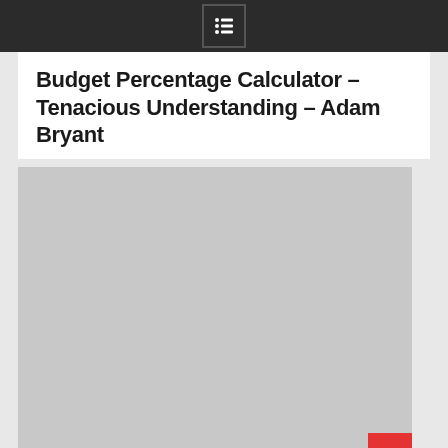Budget Percentage Calculator – Tenacious Understanding – Adam Bryant
[Figure (screenshot): A large light gray placeholder rectangle representing an embedded calculator or image widget. A red scroll-to-top button with a white upward arrow chevron is positioned at the bottom-right corner of the image area.]